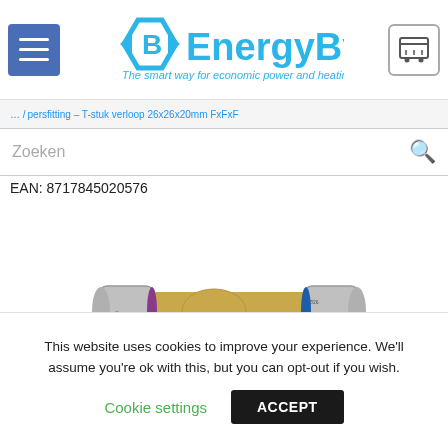EnergyBy — The smart way for economic power and heating
persfitting – T-stuk verloop 26x26x20mm FxFxF
Zoeken
EAN: 8717845020576
[Figure (photo): T-piece press fitting with purple and blue sealing rings, brass body, for 26x26x20mm pipe connections]
This website uses cookies to improve your experience. We'll assume you're ok with this, but you can opt-out if you wish. Cookie settings ACCEPT